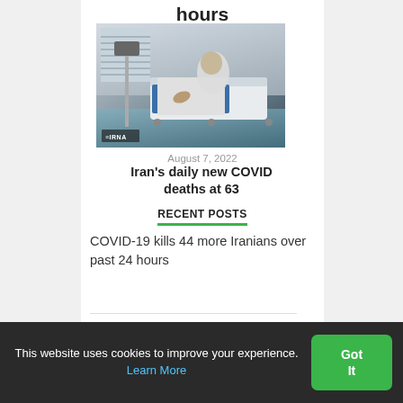hours
[Figure (photo): Hospital bed with patient and medical equipment (IRNA news agency photo)]
August 7, 2022
Iran's daily new COVID deaths at 63
RECENT POSTS
COVID-19 kills 44 more Iranians over past 24 hours
This website uses cookies to improve your experience. Learn More  Got It